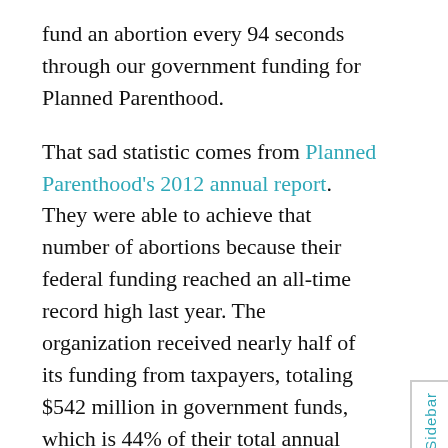fund an abortion every 94 seconds through our government funding for Planned Parenthood.
That sad statistic comes from Planned Parenthood's 2012 annual report. They were able to achieve that number of abortions because their federal funding reached an all-time record high last year. The organization received nearly half of its funding from taxpayers, totaling $542 million in government funds, which is 44% of their total annual budget.
This horrible tragedy is just one example of the pain caused by abortion. Abortion is not “health services.” It is time for Americans to vote for government representatives who will stop federal